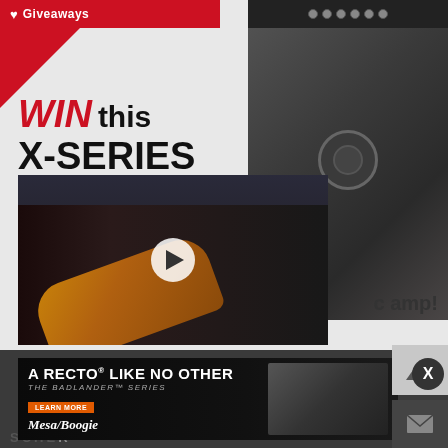[Figure (screenshot): Red banner with heart icon and Giveaways text at top left, red triangle corner accent below]
WIN this X-SERIES
[Figure (photo): Dark gray guitar amplifier (X-Series) product photo on right side]
[Figure (screenshot): Video thumbnail showing person playing electric guitar in a studio/room with amplifiers, with a play button overlay]
c amp!
[Figure (screenshot): Mesa/Boogie Badlander Series advertisement: A RECTO LIKE NO OTHER, THE BADLANDER SERIES, LEARN MORE button, Mesa/Boogie logo, amp photo]
SCHE